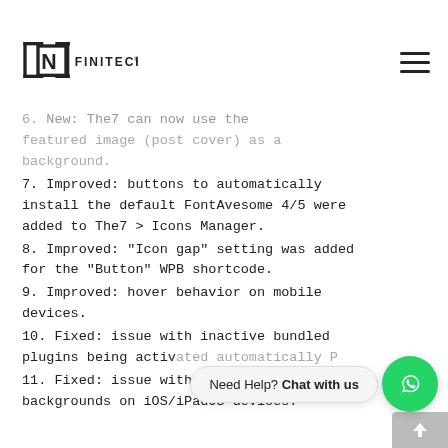INFINITECH logo and navigation menu
6. New: The7 can now use the featured image (post cover) as a background.
7. Improved: buttons to automatically install the default FontAvesome 4/5 were added to The7 > Icons Manager.
8. Improved: "Icon gap" setting was added for the "Button" WPB shortcode.
9. Improved: hover behavior on mobile devices.
10. Fixed: issue with inactive bundled plugins being activ[ated automatically by P...]
11. Fixed: issue with full-screen backgrounds on iOS/iPadOS devices.